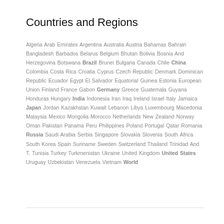Countries and Regions
Algeria Arab Emirates Argentina Australia Austria Bahamas Bahrain Bangladesh Barbados Belarus Belgium Bhutan Bolivia Bosnia And Herzegovina Botswana Brazil Brunei Bulgaria Canada Chile China Colombia Costa Rica Croatia Cyprus Czech Republic Denmark Dominican Republic Ecuador Egypt El Salvador Equatorial Guinea Estonia European Union Finland France Gabon Germany Greece Guatemala Guyana Honduras Hungary India Indonesia Iran Iraq Ireland Israel Italy Jamaica Japan Jordan Kazakhstan Kuwait Lebanon Libya Luxembourg Macedonia Malaysia Mexico Mongolia Morocco Netherlands New Zealand Norway Oman Pakistan Panama Peru Philippines Poland Portugal Qatar Romania Russia Saudi Arabia Serbia Singapore Slovakia Slovenia South Africa South Korea Spain Suriname Sweden Switzerland Thailand Trinidad And T. Tunisia Turkey Turkmenistan Ukraine United Kingdom United States Uruguay Uzbekistan Venezuela Vietnam World